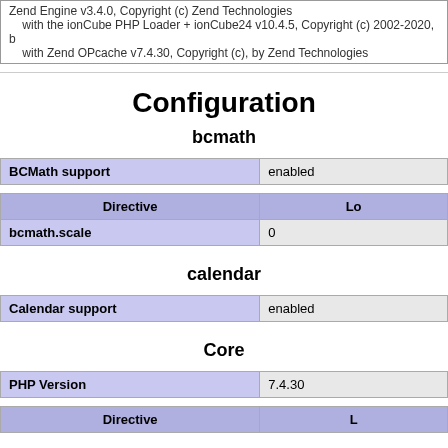Zend Engine v3.4.0, Copyright (c) Zend Technologies
    with the ionCube PHP Loader + ionCube24 v10.4.5, Copyright (c) 2002-2020, b
    with Zend OPcache v7.4.30, Copyright (c), by Zend Technologies
Configuration
bcmath
| BCMath support | enabled |
| --- | --- |
| Directive | Lo |
| --- | --- |
| bcmath.scale | 0 |
calendar
| Calendar support | enabled |
| --- | --- |
Core
| PHP Version | 7.4.30 |
| --- | --- |
| Directive | L |
| --- | --- |